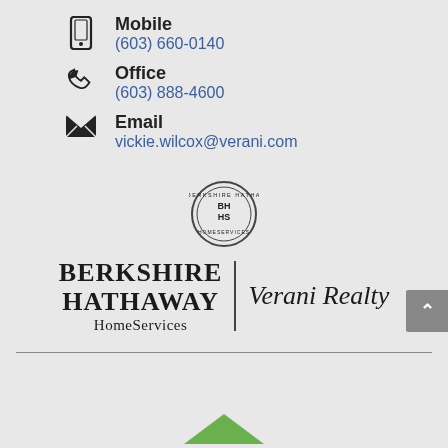Mobile
(603) 660-0140
Office
(603) 888-4600
Email
vickie.wilcox@verani.com
[Figure (logo): Berkshire Hathaway HomeServices Verani Realty logo with BHHS circular seal]
[Figure (other): Green triangle/chevron accent at bottom of page]